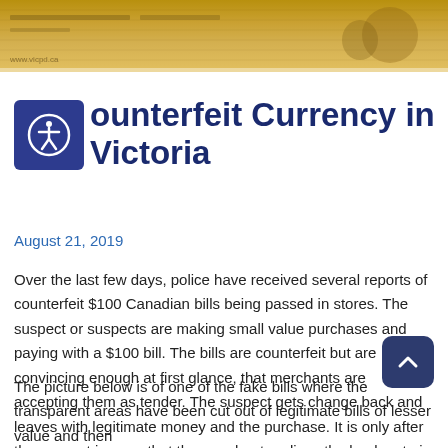[Figure (photo): A photo of a Canadian banknote, showing partial text and imagery on a yellowish-gold background.]
Counterfeit Currency in Victoria
August 21, 2019
Over the last few days, police have received several reports of counterfeit $100 Canadian bills being passed in stores. The suspect or suspects are making small value purchases and paying with a $100 bill. The bills are counterfeit but are convincing enough at first glance, that merchants are accepting them as tender. The suspect gets change back and leaves with legitimate money and the purchase. It is only after the suspect is gone that the merchant realizes the bank note is a fake.
The picture below is of one of the fake bills where the transparent areas have been cut out of legitimate bills of lesser value and then